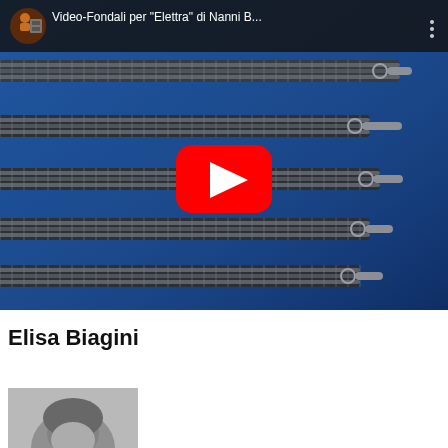[Figure (screenshot): YouTube video thumbnail showing metallic coil springs arranged diagonally on a blue background. The video bar at the top shows a circular profile thumbnail and the title 'Video-Fondali per "Elettra" di Nanni B...' with a three-dot menu icon. A red YouTube play button is centered on the image.]
Elisa Biagini
[Figure (photo): Partial view of a black and white portrait photo at the bottom of the page, showing the top portion of a person's head.]